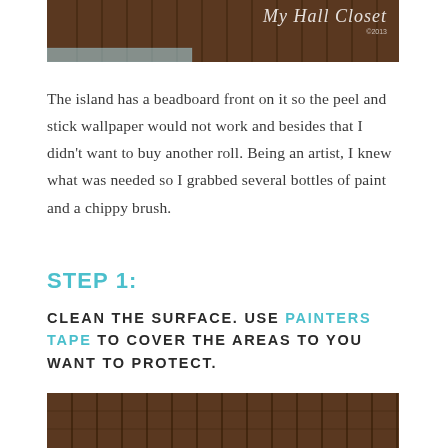[Figure (photo): Top partial photo showing a dark wooden beadboard surface with white script text partially visible reading 'My Hall Closet ©2013' and a strip of blue painter's tape along the bottom edge]
The island has a beadboard front on it so the peel and stick wallpaper would not work and besides that I didn't want to buy another roll. Being an artist, I knew what was needed so I grabbed several bottles of paint and a chippy brush.
STEP 1:
CLEAN THE SURFACE. USE PAINTERS TAPE TO COVER THE AREAS TO YOU WANT TO PROTECT.
[Figure (photo): Bottom partial photo showing a dark brown wooden beadboard surface with vertical grooves/channels visible]